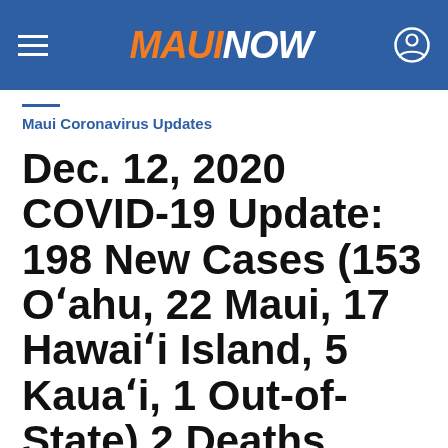MAUI NOW
Maui Coronavirus Updates
Dec. 12, 2020 COVID-19 Update: 198 New Cases (153 Oʻahu, 22 Maui, 17 Hawaiʻi Island, 5 Kauaʻi, 1 Out-of-State) 2 Deaths